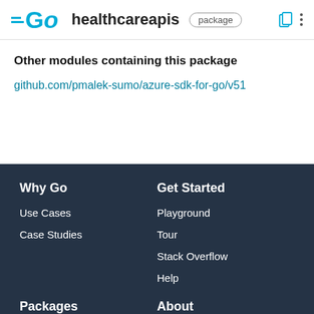GO healthcareapis package
Other modules containing this package
github.com/pmalek-sumo/azure-sdk-for-go/v51
Why Go | Use Cases | Case Studies | Get Started | Playground | Tour | Stack Overflow | Help | Packages | About